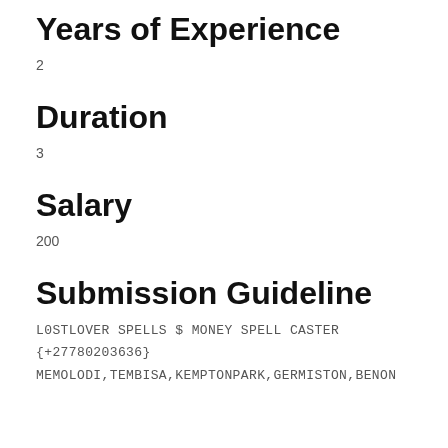Years of Experience
2
Duration
3
Salary
200
Submission Guideline
L0STLOVER SPELLS $ MONEY SPELL CASTER {+27780203636} MEMOLODI,TEMBISA,KEMPTONPARK,GERMISTON,BENON